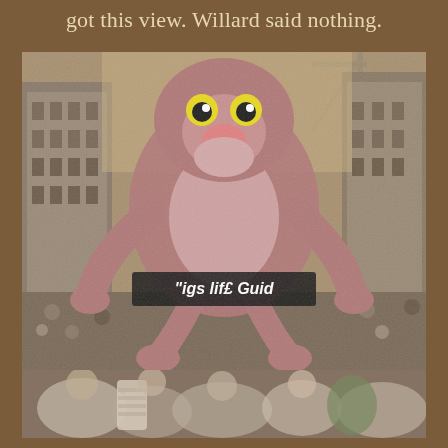got this view. Willard said nothing.
[Figure (photo): Parade float with large Pink Panther balloon in a city street surrounded by buildings and crowds, with a banner reading 'Life Guid' visible on the balloon]
[Figure (photo): Crowd of parade spectators and performers at street level, blurred foreground]